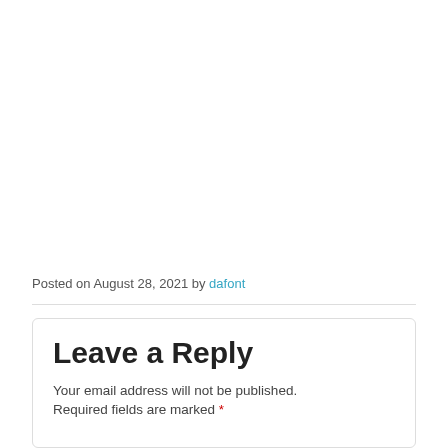Posted on August 28, 2021 by dafont
Leave a Reply
Your email address will not be published.
Required fields are marked *